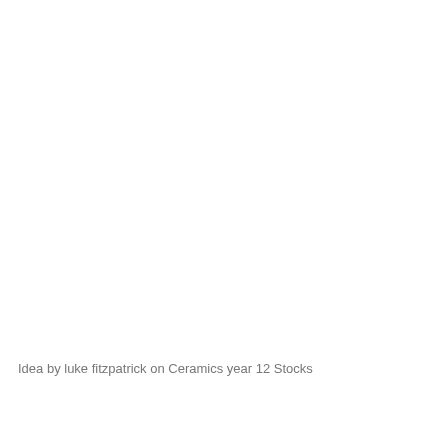Idea by luke fitzpatrick on Ceramics year 12 Stocks